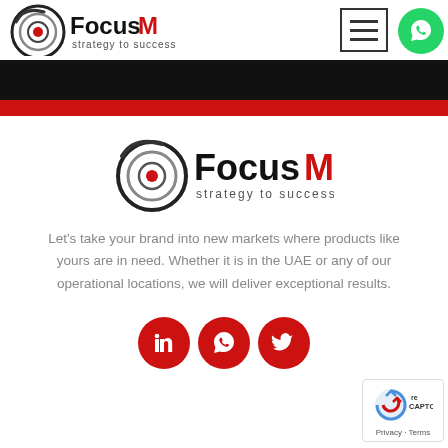[Figure (logo): FocusM logo in header - circular target icon with 'FocusM' text and tagline 'strategy to success']
[Figure (logo): Center FocusM logo - larger circular target icon with 'FocusM' text (M in red) and tagline 'strategy to success']
Let's take your brand into new markets where products like yours are in need. Whether it is in the UAE or any of our operational locations, we will deliver exceptional results.
[Figure (infographic): Three red circular social media icons: LinkedIn, WhatsApp, Twitter]